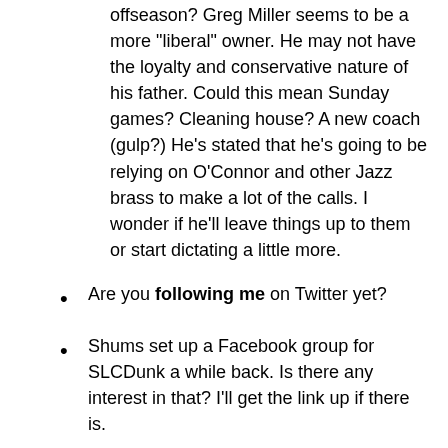offseason? Greg Miller seems to be a more "liberal" owner. He may not have the loyalty and conservative nature of his father. Could this mean Sunday games? Cleaning house? A new coach (gulp?) He's stated that he's going to be relying on O'Connor and other Jazz brass to make a lot of the calls. I wonder if he'll leave things up to them or start dictating a little more.
Are you following me on Twitter yet?
Shums set up a Facebook group for SLCDunk a while back. Is there any interest in that? I'll get the link up if there is.
Two new SBN blogs of signficance:
Silver Screen and Roll - We finally have a Lakers blog. This one will be of high quality and isn't just a